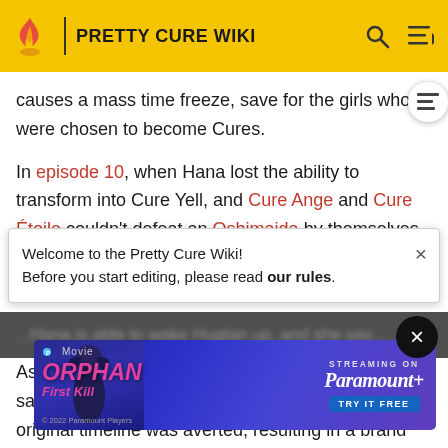PRETTY CURE WIKI
causes a mass time freeze, save for the girls who were chosen to become Cures.
In episode 10, when Hana lost the ability to transform into Cure Yell, and Cure Ange and Cure Étoile couldn't defeat an Oshimaida by themselves, Hugtan used her own power to defeat the Oshimaida. This resulted in
Welcome to the Pretty Cure Wiki! Before you start editing, please read our rules.
Hana is able to wake Hugtan up, and she sav...
[Figure (photo): Advertisement for Orphan: First Kill movie, streaming on Paramount+. Shows a girl with dark hair and the movie title in pink stylized text. Paramount+ logo with 'TRY IT FREE' button on right.]
As reve... me to save h... in the original timeline was averted, resulting in a brand new